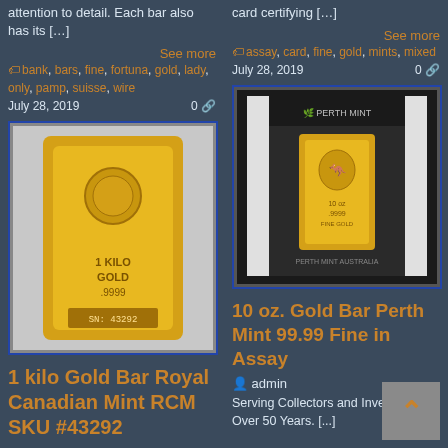attention to detail. Each bar also has its […]
See more
bank, bars, fine, fortuna, gold, lady, only, pamp, suisse, wire
July 28, 2019    0
[Figure (photo): 1 kilo gold bar Royal Canadian Mint RCM, rectangular gold-colored bar with RCM logo and serial number on dark background, blue border]
1 kilo Gold Bar Royal Canadian Mint RCM SKU #43292
card certifying […]
See more
assay, card, fine, gold, mints, mixed
July 28, 2019    0
[Figure (photo): 10 oz gold bar Perth Mint 99.99 fine in assay card, small rectangular gold bar on black background with Perth Mint logo, blue border]
10 oz. Gold Bar Perth Mint 99.99 Fine in Assay
admin
Serving Collectors and Investors for Over 50 Years. [...]